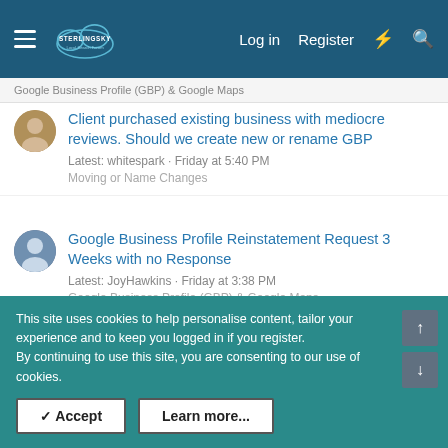Sterling Sky Local Search Forum — Log in  Register
Google Business Profile (GBP) & Google Maps
Client purchased existing business with mediocre reviews. Should we create new or rename GBP
Latest: whitespark · Friday at 5:40 PM
Moving or Name Changes
Google Business Profile Reinstatement Request 3 Weeks with no Response
Latest: JoyHawkins · Friday at 3:38 PM
Google Business Profile (GBP) & Google Maps
Next steps after reinstatement request not granted
Latest: Jeffrey · Friday at 3:14 PM
Help & Support for Google Local
This site uses cookies to help personalise content, tailor your experience and to keep you logged in if you register.
By continuing to use this site, you are consenting to our use of cookies.